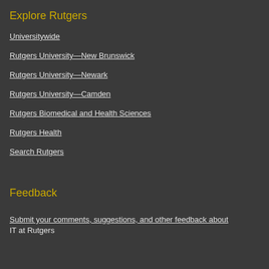Explore Rutgers
Universitywide
Rutgers University—New Brunswick
Rutgers University—Newark
Rutgers University—Camden
Rutgers Biomedical and Health Sciences
Rutgers Health
Search Rutgers
Feedback
Submit your comments, suggestions, and other feedback about IT at Rutgers